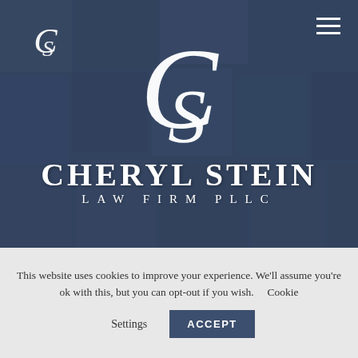[Figure (screenshot): Cheryl Stein Law Firm PLLC website hero section with dark blue overlay, CS monogram logo in top-left, hamburger menu icon top-right, large CS monogram logo centered, firm name 'CHERYL STEIN LAW FIRM PLLC' in large white text]
This website uses cookies to improve your experience. We'll assume you're ok with this, but you can opt-out if you wish.     Cookie Settings     ACCEPT